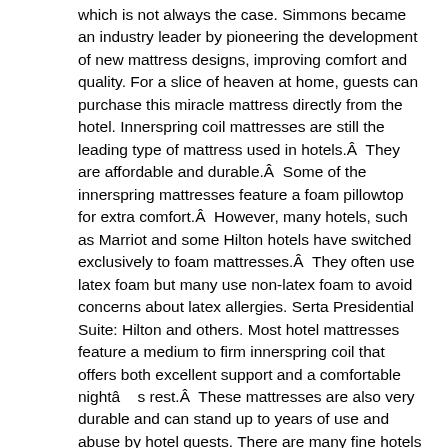which is not always the case. Simmons became an industry leader by pioneering the development of new mattress designs, improving comfort and quality. For a slice of heaven at home, guests can purchase this miracle mattress directly from the hotel. Innerspring coil mattresses are still the leading type of mattress used in hotels.Â They are affordable and durable.Â Some of the innerspring mattresses feature a foam pillowtop for extra comfort.Â However, many hotels, such as Marriot and some Hilton hotels have switched exclusively to foam mattresses.Â They often use latex foam but many use non-latex foam to avoid concerns about latex allergies. Serta Presidential Suite: Hilton and others. Most hotel mattresses feature a medium to firm innerspring coil that offers both excellent support and a comfortable nightâs rest.Â These mattresses are also very durable and can stand up to years of use and abuse by hotel guests. There are many fine hotels that a weary traveler can choose to stay in. What would be the kind of mattress typically used in a nice hotel? It lost its firmness and we totally DO NOT recommend this produced. They often use latex foam but many use non-latex foam to … The answer might surprise you. SIMMONS: Found a Simmons